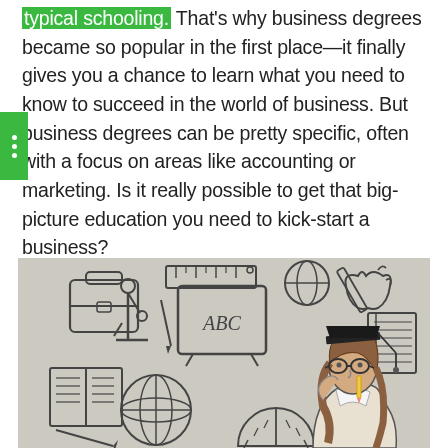typical schooling. That's why business degrees became so popular in the first place—it finally gives you a chance to learn what you need to know to succeed in the world of business. But business degrees can be pretty specific, often with a focus on areas like accounting or marketing. Is it really possible to get that big-picture education you need to kick-start a business?
[Figure (photo): A young woman wearing a graduation cap and glasses, looking thoughtful, surrounded by hand-drawn educational icons including books, a microscope, a globe, an ABC chalkboard, an apple, pencils, and other school-related doodles on a grey background.]